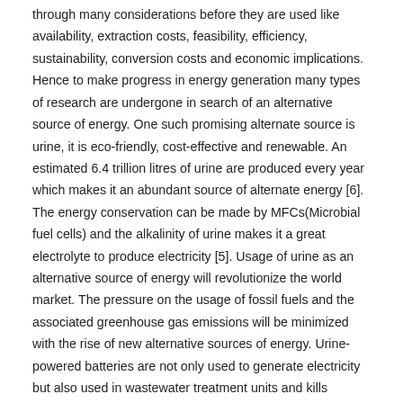through many considerations before they are used like availability, extraction costs, feasibility, efficiency, sustainability, conversion costs and economic implications. Hence to make progress in energy generation many types of research are undergone in search of an alternative source of energy. One such promising alternate source is urine, it is eco-friendly, cost-effective and renewable. An estimated 6.4 trillion litres of urine are produced every year which makes it an abundant source of alternate energy [6]. The energy conservation can be made by MFCs(Microbial fuel cells) and the alkalinity of urine makes it a great electrolyte to produce electricity [5]. Usage of urine as an alternative source of energy will revolutionize the world market. The pressure on the usage of fossil fuels and the associated greenhouse gas emissions will be minimized with the rise of new alternative sources of energy. Urine-powered batteries are not only used to generate electricity but also used in wastewater treatment units and kills dangerous bacteria [5]. 2. Background and Literature Review: Survey based on urine powered battery for low power sensors: The energy